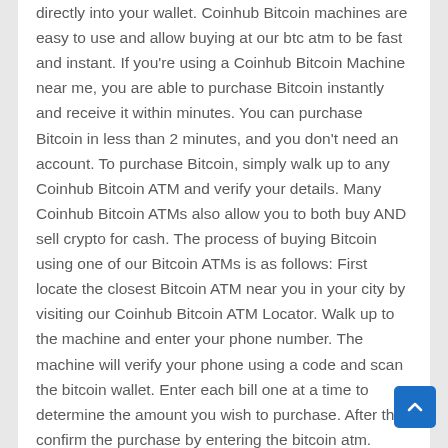directly into your wallet. Coinhub Bitcoin machines are easy to use and allow buying at our btc atm to be fast and instant. If you're using a Coinhub Bitcoin Machine near me, you are able to purchase Bitcoin instantly and receive it within minutes. You can purchase Bitcoin in less than 2 minutes, and you don't need an account. To purchase Bitcoin, simply walk up to any Coinhub Bitcoin ATM and verify your details. Many Coinhub Bitcoin ATMs also allow you to both buy AND sell crypto for cash. The process of buying Bitcoin using one of our Bitcoin ATMs is as follows: First locate the closest Bitcoin ATM near you in your city by visiting our Coinhub Bitcoin ATM Locator. Walk up to the machine and enter your phone number. The machine will verify your phone using a code and scan the bitcoin wallet. Enter each bill one at a time to determine the amount you wish to purchase. After that, confirm the purchase by entering the bitcoin atm. Bitcoin is then instantly